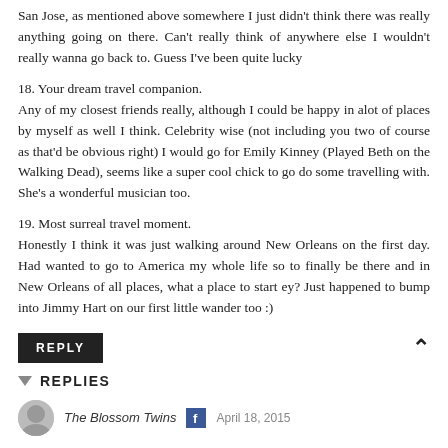San Jose, as mentioned above somewhere I just didn't think there was really anything going on there. Can't really think of anywhere else I wouldn't really wanna go back to. Guess I've been quite lucky
18. Your dream travel companion.
Any of my closest friends really, although I could be happy in alot of places by myself as well I think. Celebrity wise (not including you two of course as that'd be obvious right) I would go for Emily Kinney (Played Beth on the Walking Dead), seems like a super cool chick to go do some travelling with. She's a wonderful musician too.
19. Most surreal travel moment.
Honestly I think it was just walking around New Orleans on the first day. Had wanted to go to America my whole life so to finally be there and in New Orleans of all places, what a place to start ey? Just happened to bump into Jimmy Hart on our first little wander too :)
REPLY
REPLIES
The Blossom Twins  April 18, 2015